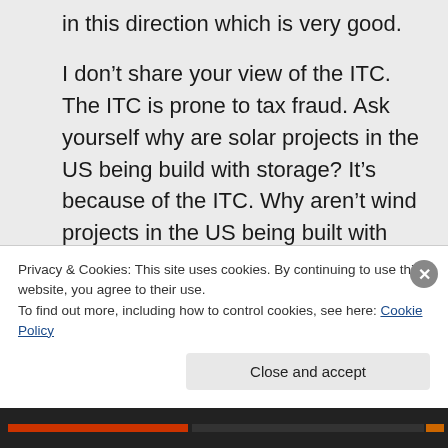in this direction which is very good.
I don't share your view of the ITC. The ITC is prone to tax fraud. Ask yourself why are solar projects in the US being build with storage? It's because of the ITC. Why aren't wind projects in the US being built with storage? Why aren't solar projects in Europe being mostly built with storage? The basic answer is
Privacy & Cookies: This site uses cookies. By continuing to use this website, you agree to their use.
To find out more, including how to control cookies, see here: Cookie Policy
Close and accept